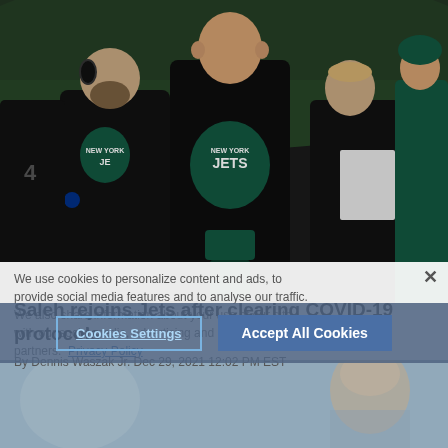[Figure (photo): New York Jets head coach Robert Saleh stands on the sideline during a game, wearing a black Jets hoodie. Several other Jets coaches and players in green uniforms are visible behind him.]
We use cookies to personalize content and ads, to provide social media features and to analyse our traffic. We also share information about your use of our site with our social media, advertising and analytics partners. Privacy Policy
Saleh rejoins Jets after clearing COVID-19 protocols
By Dennis Waszak Jr. Dec 29, 2021 12:02 PM EST
[Figure (photo): Partial photo of a person, likely a quarterback or player, in the lower portion of the page.]
Cookies Settings    Accept All Cookies